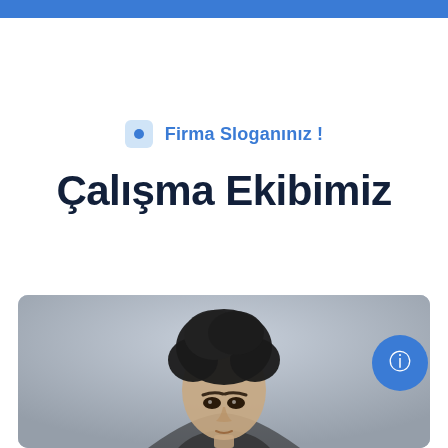Firma Sloganınız !
Çalışma Ekibimiz
[Figure (photo): Portrait photo of a young man with curly dark hair against a gray background. A blue circular button with an icon overlays the top-right of the image.]